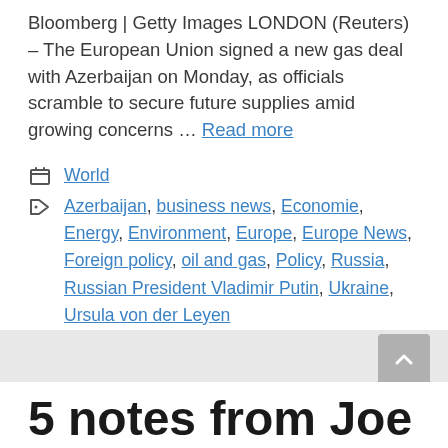Bloomberg | Getty Images LONDON (Reuters) – The European Union signed a new gas deal with Azerbaijan on Monday, as officials scramble to secure future supplies amid growing concerns … Read more
Category: World
Tags: Azerbaijan, business news, Economie, Energy, Environment, Europe, Europe News, Foreign policy, oil and gas, Policy, Russia, Russian President Vladimir Putin, Ukraine, Ursula von der Leyen
5 notes from Joe